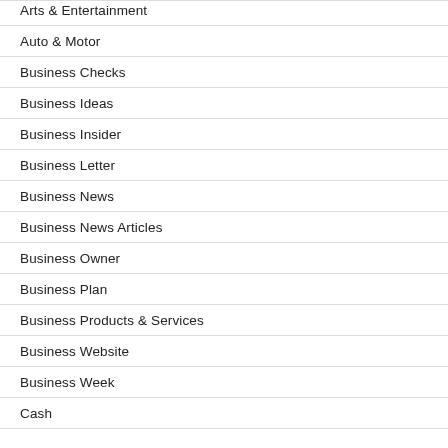Arts & Entertainment
Auto & Motor
Business Checks
Business Ideas
Business Insider
Business Letter
Business News
Business News Articles
Business Owner
Business Plan
Business Products & Services
Business Website
Business Week
Cash